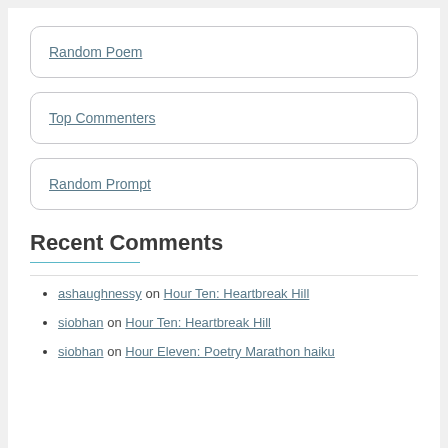Random Poem
Top Commenters
Random Prompt
Recent Comments
ashaughnessy on Hour Ten: Heartbreak Hill
siobhan on Hour Ten: Heartbreak Hill
siobhan on Hour Eleven: Poetry Marathon haiku